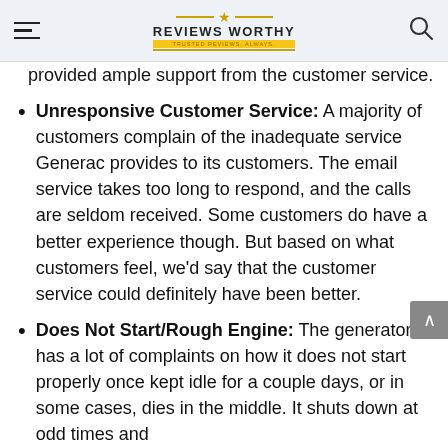Reviews Worthy — Trusted Reviews, Always
provided ample support from the customer service.
Unresponsive Customer Service: A majority of customers complain of the inadequate service Generac provides to its customers. The email service takes too long to respond, and the calls are seldom received. Some customers do have a better experience though. But based on what customers feel, we'd say that the customer service could definitely have been better.
Does Not Start/Rough Engine: The generator has a lot of complaints on how it does not start properly once kept idle for a couple days, or in some cases, dies in the middle. It shuts down at odd times and